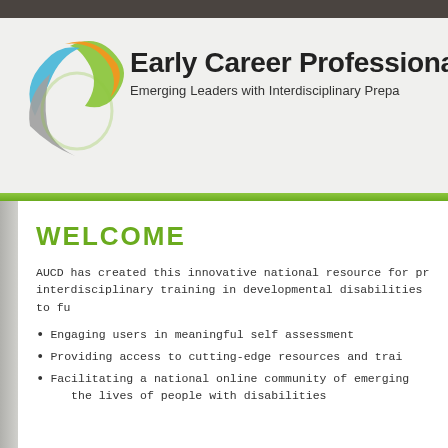[Figure (logo): Circular logo with green, orange, blue, and gray swoosh arcs forming a spiral/pinwheel shape]
Early Career Professionals
Emerging Leaders with Interdisciplinary Prepa
WELCOME
AUCD has created this innovative national resource for pr interdisciplinary training in developmental disabilities to fu
Engaging users in meaningful self assessment
Providing access to cutting-edge resources and trai
Facilitating a national online community of emerging the lives of people with disabilities